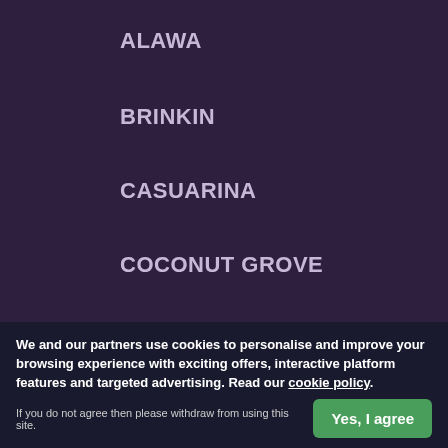ALAWA
BRINKIN
CASUARINA
COCONUT GROVE
JINGILI
LEE POINT
LYONS
MILLNER
MOIL
MUIRHEAD
NAKARA
NIGHTCLIFF
RAPID CREEK
We and our partners use cookies to personalise and improve your browsing experience with exciting offers, interactive platform features and targeted advertising. Read our cookie policy.
If you do not agree then please withdraw from using this site.